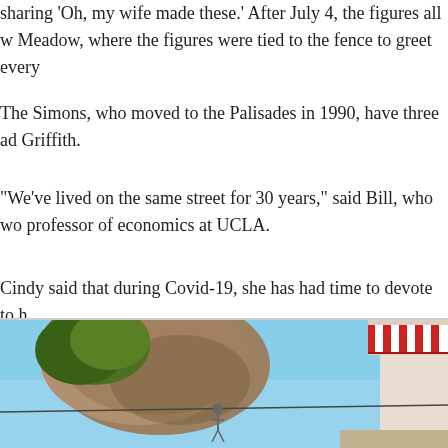sharing 'Oh, my wife made these.' After July 4, the figures all w Meadow, where the figures were tied to the fence to greet every
The Simons, who moved to the Palisades in 1990, have three ad Griffith.
"We've lived on the same street for 30 years," said Bill, who wo professor of economics at UCLA.
Cindy said that during Covid-19, she has had time to devote to h
"On my Instagram (csimon440), I've done an IGTV series calle Pacific Palisades, CA during COVID 19.' I use lots of cardboard time in my garage these days with Alexa playing Frank Sinatra,
[Figure (photo): Outdoor photo showing a blue sky, large rock formation, green tree, a wire or rope strung across, a small figure appearing to balance on the wire, and a building with red and white striped awning on the right side.]